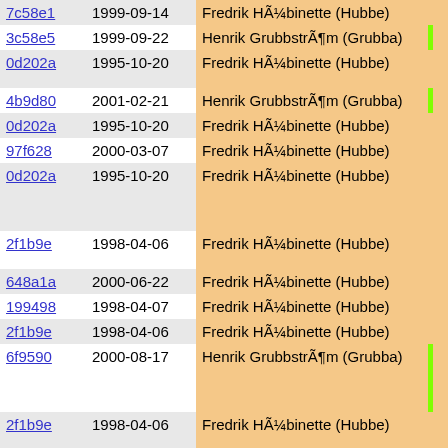| hash | date | author | code |
| --- | --- | --- | --- |
| 7c58e1 | 1999-09-14 | Fredrik HÃ¼binette (Hubbe) | if( |
| 3c58e5 | 1999-09-22 | Henrik GrubbstrÃ¶m (Grubba) | for(e=0; |
| 0d202a | 1995-10-20 | Fredrik HÃ¼binette (Hubbe) | {   check_ |
| 4b9d80 | 2001-02-21 | Henrik GrubbstrÃ¶m (Grubba) | check_ |
| 0d202a | 1995-10-20 | Fredrik HÃ¼binette (Hubbe) |  |
| 97f628 | 2000-03-07 | Fredrik HÃ¼binette (Hubbe) | if(p-> |
| 0d202a | 1995-10-20 | Fredrik HÃ¼binette (Hubbe) | fata
 if(p-> chec |
| 2f1b9e | 1998-04-06 | Fredrik HÃ¼binette (Hubbe) | if(IDE { |
| 648a1a | 2000-06-22 | Fredrik HÃ¼binette (Hubbe) | if( |
| 199498 | 1998-04-07 | Fredrik HÃ¼binette (Hubbe) | ( |
| 2f1b9e | 1998-04-06 | Fredrik HÃ¼binette (Hubbe) | { |
| 6f9590 | 2000-08-17 | Henrik GrubbstrÃ¶m (Grubba) | fa |
| 2f1b9e | 1998-04-06 | Fredrik HÃ¼binette (Hubbe) | }
} |